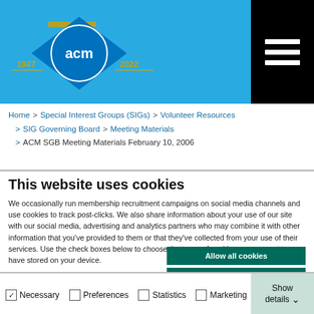[Figure (logo): ACM 75th anniversary logo (1947-2022) with blue diamond and hamburger menu icon on black background]
Home > Special Interest Groups (SIGs) > Volunteer Resources > SIG Governing Board > Meeting Materials > ACM SGB Meeting Materials February 10, 2006
This website uses cookies
We occasionally run membership recruitment campaigns on social media channels and use cookies to track post-clicks. We also share information about your use of our site with our social media, advertising and analytics partners who may combine it with other information that you've provided to them or that they've collected from your use of their services. Use the check boxes below to choose the types of cookies you consent to have stored on your device.
Allow all cookies
Allow selected cookies
Use necessary cookies only
Necessary  Preferences  Statistics  Marketing  Show details